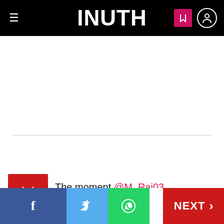INUTH
The moment @M_Raj03 brought up 6000 ODI runs!
Facebook | Twitter | WhatsApp | NEXT